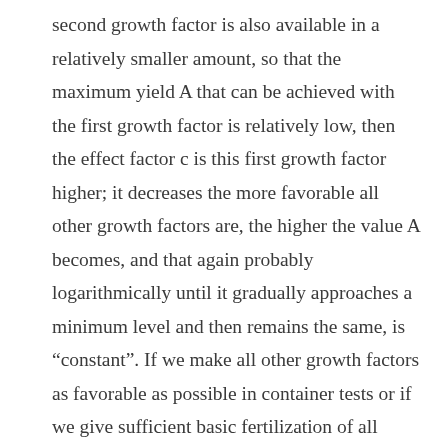second growth factor is also available in a relatively smaller amount, so that the maximum yield A that can be achieved with the first growth factor is relatively low, then the effect factor c is this first growth factor higher; it decreases the more favorable all other growth factors are, the higher the value A becomes, and that again probably logarithmically until it gradually approaches a minimum level and then remains the same, is “constant”. If we make all other growth factors as favorable as possible in container tests or if we give sufficient basic fertilization of all other nutrients in field tests so that the value A is relatively high, then the effect value c of the individual growth factor is in fact constant.” Looking back, we can sum up: In just a few years, Mitscherlich succeeded in setting up a research facility in Paulinenaue that met the demands of the time. His work in Paulinenaue was the culmination of a long life as a